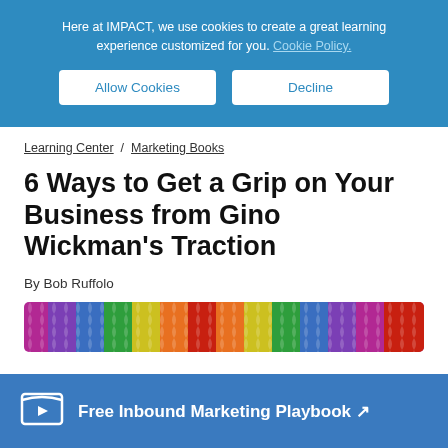Here at IMPACT, we use cookies to create a great learning experience customized for you. Cookie Policy.
Allow Cookies
Decline
Learning Center / Marketing Books
6 Ways to Get a Grip on Your Business from Gino Wickman's Traction
By Bob Ruffolo
[Figure (illustration): Colorful tropical leaf pattern book cover strip]
Free Inbound Marketing Playbook ↗